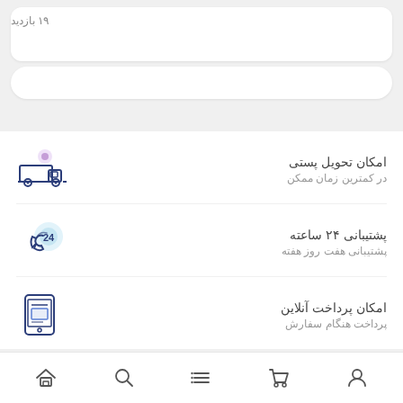۱۹ بازدید
امکان تحویل پستی
در کمترین زمان ممکن
[Figure (illustration): Delivery truck icon with purple accent dot]
پشتیبانی ۲۴ ساعته
پشتیبانی هفت روز هفته
[Figure (illustration): 24-hour support phone icon with blue circle]
امکان پرداخت آنلاین
پرداخت هنگام سفارش
[Figure (illustration): Mobile payment icon]
Navigation bar with user, cart, list, search, home icons